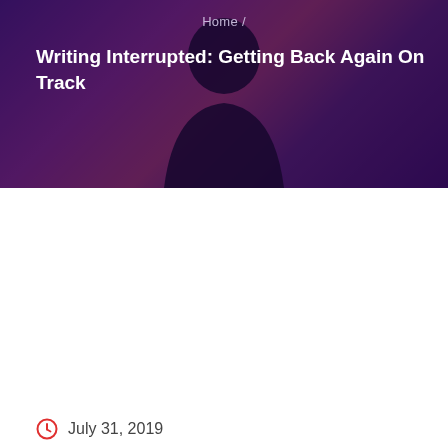Home /
Writing Interrupted: Getting Back Again On Track
[Figure (photo): Dark hero banner image showing a silhouette of a person with a purple/red/blue color overlay, resembling a creative writing or blogging header.]
July 31, 2019
[Figure (photo): Broken image icon (failed to load image)]
There are just as many Sea Globe San Antonio discounts as there are Orlando reductions. Amongst the 3 Sea Worlds in North America, the